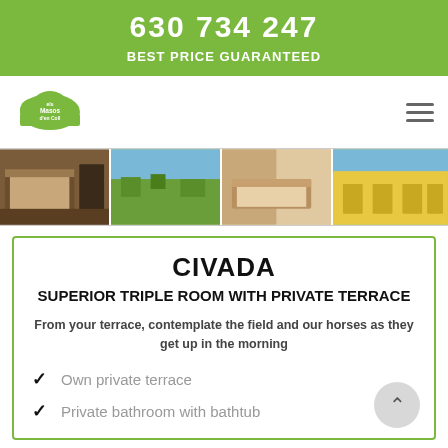630 734 247
BEST PRICE GUARANTEED
[Figure (logo): Els Masos d'en Coll green cloud logo]
[Figure (photo): Horizontal strip of four property photos: bedroom interior, outdoor landscape, bedroom with curtains, yellow exterior building]
CIVADA
SUPERIOR TRIPLE ROOM WITH PRIVATE TERRACE
From your terrace, contemplate the field and our horses as they get up in the morning
Own private terrace
Private bathroom with bathtub